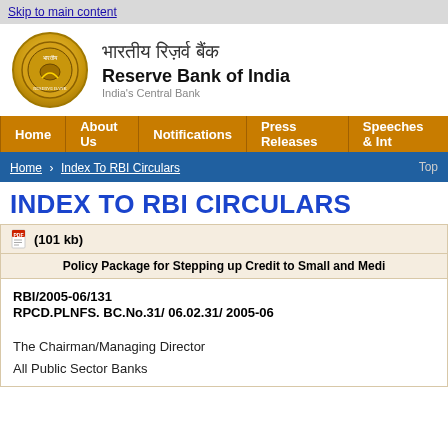Skip to main content
[Figure (logo): Reserve Bank of India logo with Hindi and English name]
Home | About Us | Notifications | Press Releases | Speeches & Int
Home › Index To RBI Circulars
INDEX TO RBI CIRCULARS
(101 kb)
Policy Package for Stepping up Credit to Small and Medi
RBI/2005-06/131
RPCD.PLNFS. BC.No.31/ 06.02.31/ 2005-06
The Chairman/Managing Director
All Public Sector Banks